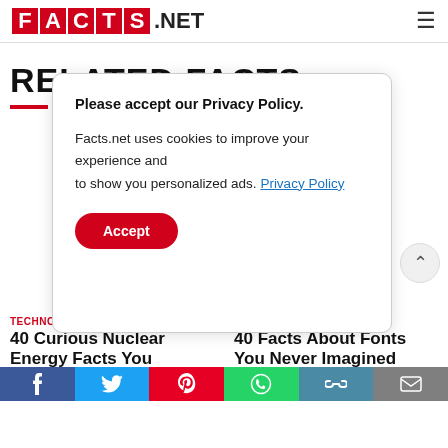FACTS.NET
RELATED FACTS
Please accept our Privacy Policy.

Facts.net uses cookies to improve your experience and to show you personalized ads. Privacy Policy

[Accept button]
TECHNOLOGY • 09 Dec 2019
40 Curious Nuclear Energy Facts You
TECHNOLOGY • 19 Mar 2020
40 Facts About Fonts You Never Imagined
[Figure (screenshot): Social share bar with Facebook, Twitter, Pinterest, WhatsApp, link, and email icons]